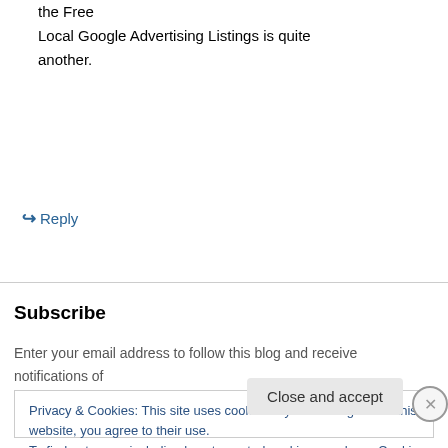the Free
Local Google Advertising Listings is quite another.
↪ Reply
Subscribe
Enter your email address to follow this blog and receive notifications of new posts by email.
Privacy & Cookies: This site uses cookies. By continuing to use this website, you agree to their use.
To find out more, including how to control cookies, see here: Cookie Policy
Close and accept